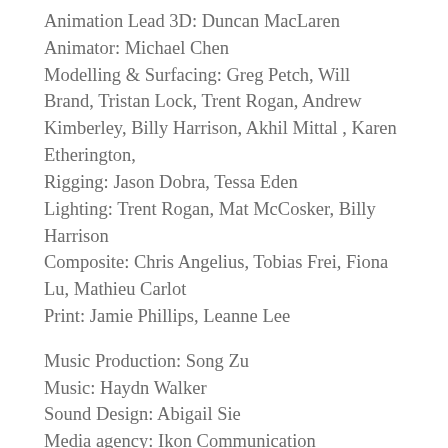Animation Lead 3D: Duncan MacLaren
Animator: Michael Chen
Modelling & Surfacing: Greg Petch, Will Brand, Tristan Lock, Trent Rogan, Andrew Kimberley, Billy Harrison, Akhil Mittal , Karen Etherington,
Rigging: Jason Dobra, Tessa Eden
Lighting: Trent Rogan, Mat McCosker, Billy Harrison
Composite: Chris Angelius, Tobias Frei, Fiona Lu, Mathieu Carlot
Print: Jamie Phillips, Leanne Lee
Music Production: Song Zu
Music: Haydn Walker
Sound Design: Abigail Sie
Media agency: Ikon Communication